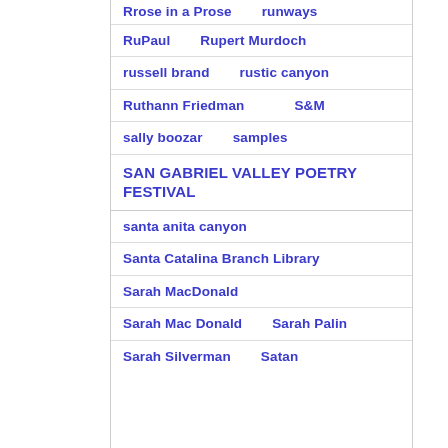Rrose in a Prose    runways
RuPaul    Rupert Murdoch
russell brand    rustic canyon
Ruthann Friedman    S&M
sally boozar    samples
SAN GABRIEL VALLEY POETRY FESTIVAL
santa anita canyon
Santa Catalina Branch Library
Sarah MacDonald
Sarah Mac Donald    Sarah Palin
Sarah Silverman    Satan